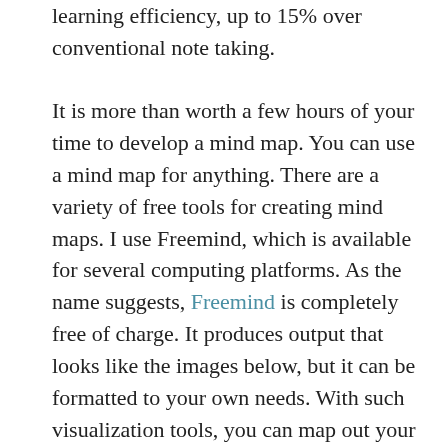learning efficiency, up to 15% over conventional note taking.
It is more than worth a few hours of your time to develop a mind map. You can use a mind map for anything. There are a variety of free tools for creating mind maps. I use Freemind, which is available for several computing platforms. As the name suggests, Freemind is completely free of charge. It produces output that looks like the images below, but it can be formatted to your own needs. With such visualization tools, you can map out your life in just a few minutes or hours, depending on how much detail you want to visualize. Road maps don't need to be pretty although you can spend time making them that